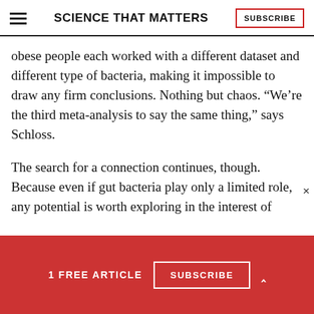SCIENCE THAT MATTERS | SUBSCRIBE
obese people each worked with a different dataset and different type of bacteria, making it impossible to draw any firm conclusions. Nothing but chaos. “We’re the third meta-analysis to say the same thing,” says Schloss.
The search for a connection continues, though. Because even if gut bacteria play only a limited role, any potential is worth exploring in the interest of
1 FREE ARTICLE  SUBSCRIBE